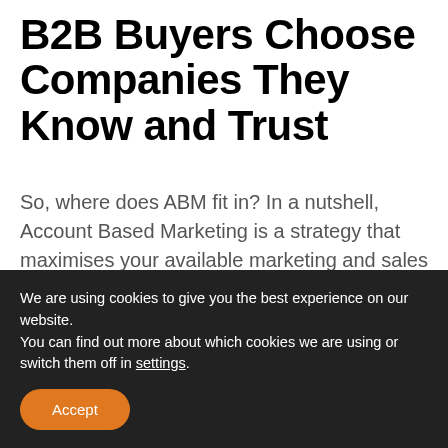B2B Buyers Choose Companies They Know and Trust
So, where does ABM fit in? In a nutshell, Account Based Marketing is a strategy that maximises your available marketing and sales resources to develop personalised campaigns for targeted accounts.
In other words, it's the exact opposite of a ...
We are using cookies to give you the best experience on our website.
You can find out more about which cookies we are using or switch them off in settings.